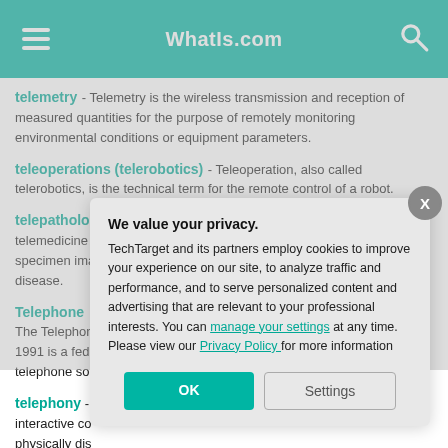WhatIs.com
telemetry - Telemetry is the wireless transmission and reception of measured quantities for the purpose of remotely monitoring environmental conditions or equipment parameters.
teleoperations (telerobotics) - Teleoperation, also called telerobotics, is the technical term for the remote control of a robot.
telepatholo... telemedicine ... specimen ima... disease.
Telephone ... The Telephon... 1991 is a fede... telephone sol...
telephony - ... interactive co... physically dis... transmission ...
telepresenc... remote-contro...
We value your privacy. TechTarget and its partners employ cookies to improve your experience on our site, to analyze traffic and performance, and to serve personalized content and advertising that are relevant to your professional interests. You can manage your settings at any time. Please view our Privacy Policy for more information